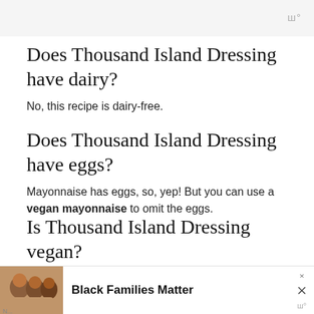wº
Does Thousand Island Dressing have dairy?
No, this recipe is dairy-free.
Does Thousand Island Dressing have eggs?
Mayonnaise has eggs, so, yep! But you can use a vegan mayonnaise to omit the eggs.
Is Thousand Island Dressing vegan?
[Figure (infographic): Advertisement banner at the bottom of the page showing a photo of smiling people and the text 'Black Families Matter' with a close button]